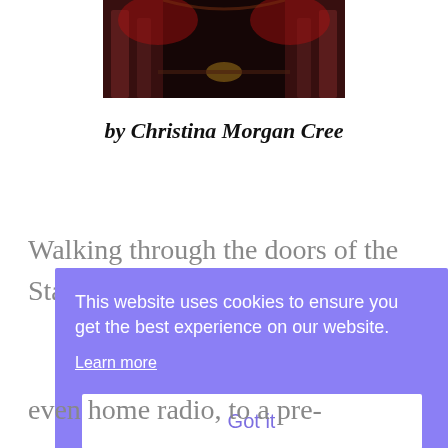[Figure (photo): Darkened interior of a theatre with red lighting and ornate columns visible on stage]
by Christina Morgan Cree
Walking through the doors of the Stanford Theatre in Palo Alto,
This website uses cookies to ensure you get the best experience on our website.
Learn more
Got it
even home radio, to a pre-